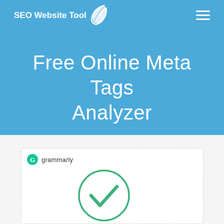SEO Website Tool
Free Online Meta Tags Analyzer
[Figure (screenshot): A screenshot showing a Grammarly browser extension popup with a green checkmark circle indicating correct grammar.]